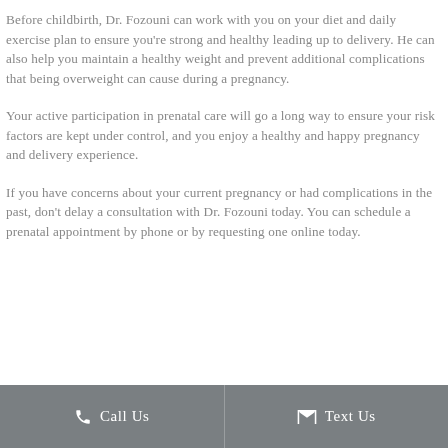Before childbirth, Dr. Fozouni can work with you on your diet and daily exercise plan to ensure you're strong and healthy leading up to delivery. He can also help you maintain a healthy weight and prevent additional complications that being overweight can cause during a pregnancy.
Your active participation in prenatal care will go a long way to ensure your risk factors are kept under control, and you enjoy a healthy and happy pregnancy and delivery experience.
If you have concerns about your current pregnancy or had complications in the past, don't delay a consultation with Dr. Fozouni today. You can schedule a prenatal appointment by phone or by requesting one online today.
Call Us   Text Us